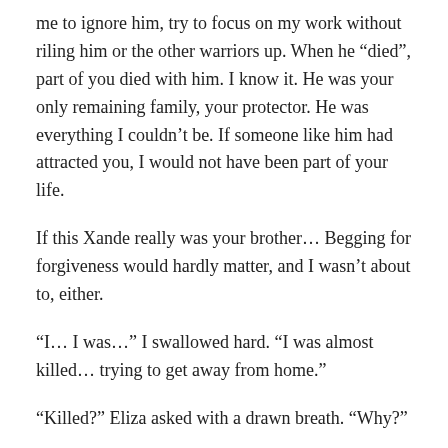me to ignore him, try to focus on my work without riling him or the other warriors up. When he “died”, part of you died with him. I know it. He was your only remaining family, your protector. He was everything I couldn’t be. If someone like him had attracted you, I would not have been part of your life.
If this Xande really was your brother… Begging for forgiveness would hardly matter, and I wasn’t about to, either.
“I… I was…” I swallowed hard. “I was almost killed… trying to get away from home.”
“Killed?” Eliza asked with a drawn breath. “Why?”
I had escaped death once. But if Xande knew…